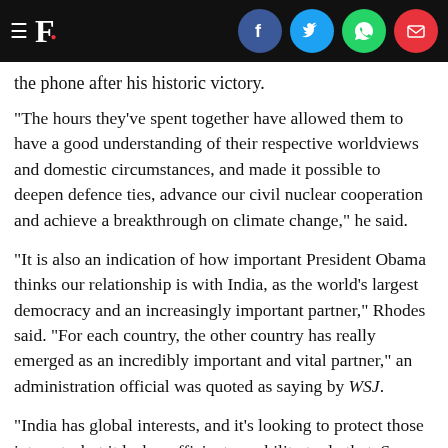F. [with social share icons: Facebook, Twitter, WhatsApp, Email]
the phone after his historic victory.
"The hours they've spent together have allowed them to have a good understanding of their respective worldviews and domestic circumstances, and made it possible to deepen defence ties, advance our civil nuclear cooperation and achieve a breakthrough on climate change," he said.
"It is also an indication of how important President Obama thinks our relationship is with India, as the world's largest democracy and an increasingly important partner," Rhodes said. "For each country, the other country has really emerged as an incredibly important and vital partner," an administration official was quoted as saying by WSJ.
"India has global interests, and it's looking to protect those interests, but it lacks sufficient capability to do that. So India is looking to make a big bet on the United States to help it gain that capacity. And we are very comfortable with helping India